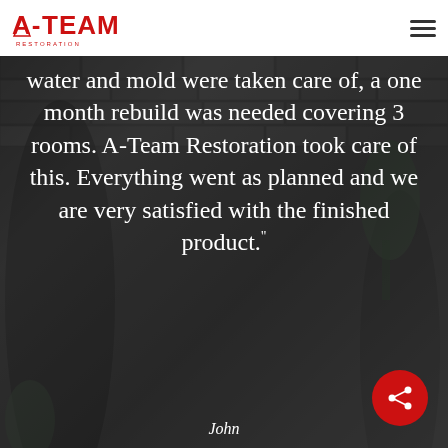[Figure (photo): Background photo of a modern interior/exterior with stone-textured wall, dark oval mirror, and plant]
A-Team Restoration logo and hamburger menu
water and mold were taken care of, a one month rebuild was needed covering 3 rooms. A-Team Restoration took care of this. Everything went as planned and we are very satisfied with the finished product."
John